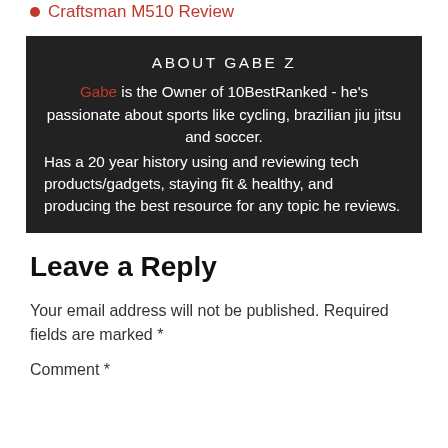Craftsman M510 Review
ABOUT GABE Z
Gabe is the Owner of 10BestRanked - he's passionate about sports like cycling, brazilian jiu jitsu and soccer. Has a 20 year history using and reviewing tech products/gadgets, staying fit & healthy, and producing the best resource for any topic he reviews.
Leave a Reply
Your email address will not be published. Required fields are marked *
Comment *